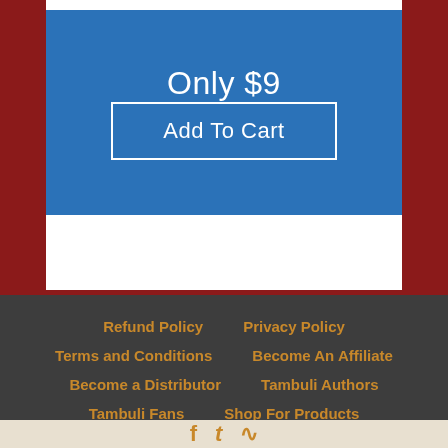Only $9
Add To Cart
Refund Policy  Privacy Policy  Terms and Conditions  Become An Affiliate  Become a Distributor  Tambuli Authors  Tambuli Fans  Shop For Products  Membership Login  Contact Us